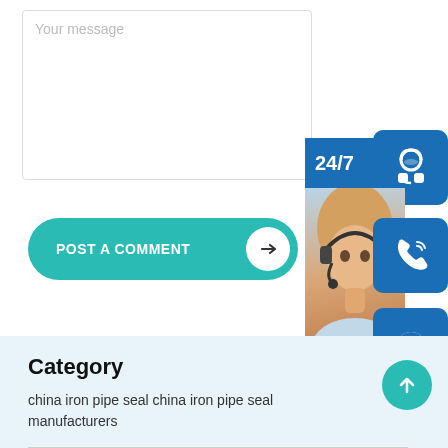Your message
POST A COMMENT
[Figure (screenshot): 24/7 customer service widget with photo of woman with headset, icons for headset, phone, and Skype, and online live button]
Category
china iron pipe seal china iron pipe seal manufacturers